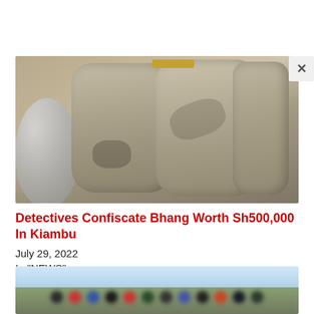[Figure (photo): Photo of large grey wrapped sacks/bales of bhang (cannabis) confiscated by detectives, with a white bucket visible on the left side. A yellow rope or tie is visible on top.]
Detectives Confiscate Bhang Worth Sh500,000 In Kiambu
July 29, 2022
In "NEWS"
[Figure (photo): Partially visible photo showing a group of people outdoors in an open field, faces blurred/pixelated. Sky visible in background.]